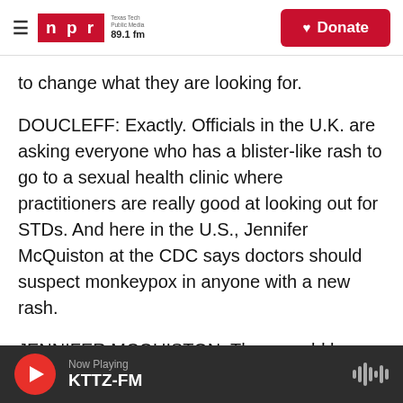[Figure (screenshot): NPR / Texas Tech Public Media 89.1 fm logo and Donate button header]
to change what they are looking for.
DOUCLEFF: Exactly. Officials in the U.K. are asking everyone who has a blister-like rash to go to a sexual health clinic where practitioners are really good at looking out for STDs. And here in the U.S., Jennifer McQuiston at the CDC says doctors should suspect monkeypox in anyone with a new rash.
JENNIFER MCQUISTON: There could be community-level transmission that is happening. And that's why we want to really encourage physicians that if they see a rash and they're
Now Playing KTTZ-FM